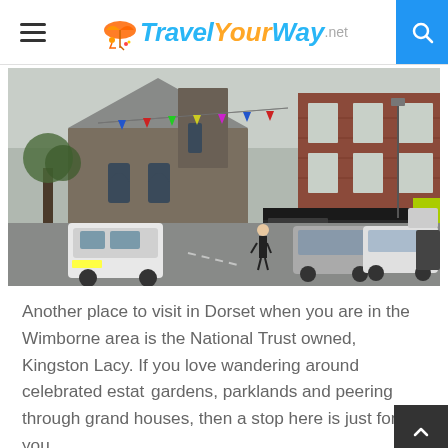Travel Your Way .net
[Figure (photo): Street scene in Wimborne, Dorset, showing a stone church with colourful bunting, brick buildings with shops including one with a dark awning, parked cars and pedestrians on the road.]
Another place to visit in Dorset when you are in the Wimborne area is the National Trust owned, Kingston Lacy. If you love wandering around celebrated estate gardens, parklands and peering through grand houses, then a stop here is just for you.